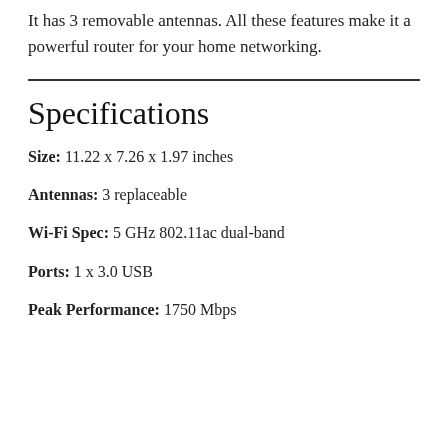It has 3 removable antennas. All these features make it a powerful router for your home networking.
Specifications
Size: 11.22 x 7.26 x 1.97 inches
Antennas: 3 replaceable
Wi-Fi Spec: 5 GHz 802.11ac dual-band
Ports: 1 x 3.0 USB
Peak Performance: 1750 Mbps